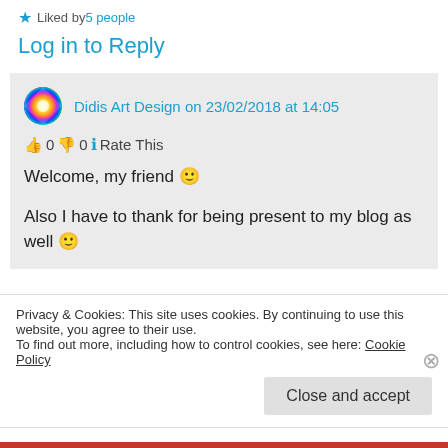★ Liked by 5 people
Log in to Reply
Didis Art Design on 23/02/2018 at 14:05
👍 0 👎 0 ℹ Rate This
Welcome, my friend 🙂
Also I have to thank for being present to my blog as well 🙂
Privacy & Cookies: This site uses cookies. By continuing to use this website, you agree to their use.
To find out more, including how to control cookies, see here: Cookie Policy
Close and accept